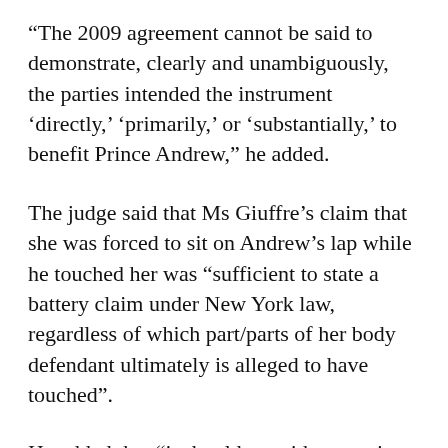“The 2009 agreement cannot be said to demonstrate, clearly and unambiguously, the parties intended the instrument ‘directly,’ ‘primarily,’ or ‘substantially,’ to benefit Prince Andrew,” he added.
The judge said that Ms Giuffre’s claim that she was forced to sit on Andrew’s lap while he touched her was “sufficient to state a battery claim under New York law, regardless of which part/parts of her body defendant ultimately is alleged to have touched”.
He added that “it should go without saying that the alleged conduct, if it occurred, reasonably could be found to have gone [beyond all